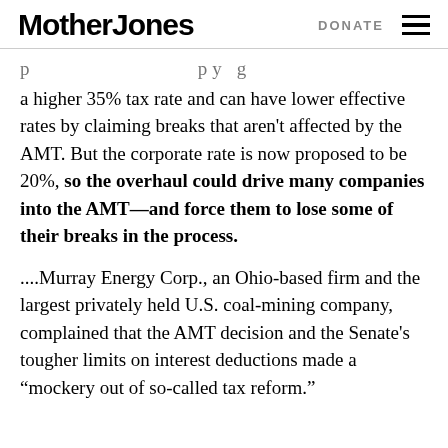Mother Jones  DONATE
a higher 35% tax rate and can have lower effective rates by claiming breaks that aren't affected by the AMT. But the corporate rate is now proposed to be 20%, so the overhaul could drive many companies into the AMT—and force them to lose some of their breaks in the process.
....Murray Energy Corp., an Ohio-based firm and the largest privately held U.S. coal-mining company, complained that the AMT decision and the Senate's tougher limits on interest deductions made a “mockery out of so-called tax reform.”